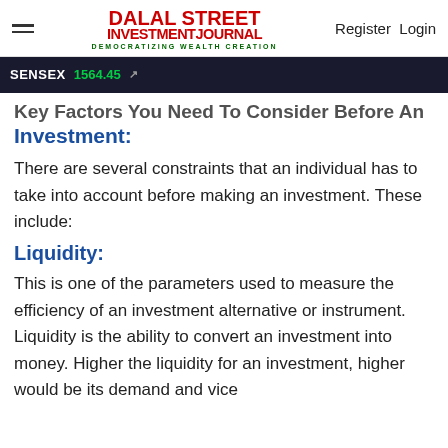Dalal Street Investment Journal — DEMOCRATIZING WEALTH CREATION | Register Login
SENSEX 1564.45
Key Factors You Need To Consider Before An Investment:
There are several constraints that an individual has to take into account before making an investment. These include:
Liquidity:
This is one of the parameters used to measure the efficiency of an investment alternative or instrument. Liquidity is the ability to convert an investment into money. Higher the liquidity for an investment, higher would be its demand and vice